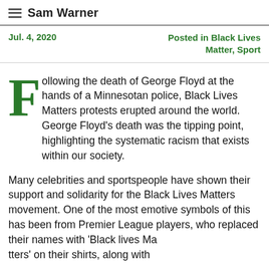Sam Warner
Jul. 4, 2020    Posted in Black Lives Matter, Sport
Following the death of George Floyd at the hands of a Minnesotan police, Black Lives Matters protests erupted around the world. George Floyd's death was the tipping point, highlighting the systematic racism that exists within our society.
Many celebrities and sportspeople have shown their support and solidarity for the Black Lives Matters movement. One of the most emotive symbols of this has been from Premier League players, who replaced their names with 'Black Lives Matters' on their shirts, along with...